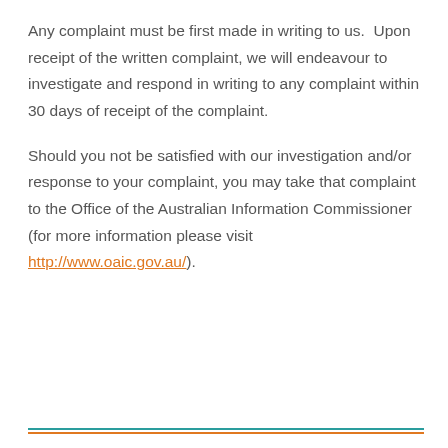Any complaint must be first made in writing to us. Upon receipt of the written complaint, we will endeavour to investigate and respond in writing to any complaint within 30 days of receipt of the complaint.
Should you not be satisfied with our investigation and/or response to your complaint, you may take that complaint to the Office of the Australian Information Commissioner (for more information please visit http://www.oaic.gov.au/).